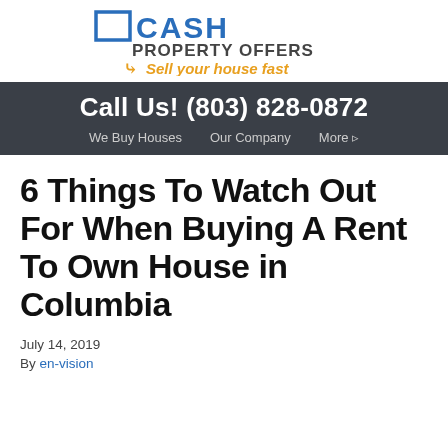[Figure (logo): Cash Property Offers logo with blue box icon, 'PROPERTY OFFERS' text, and orange arrow tagline 'Sell your house fast']
Call Us! (803) 828-0872
We Buy Houses   Our Company   More ▸
6 Things To Watch Out For When Buying A Rent To Own House in Columbia
July 14, 2019
By en-vision